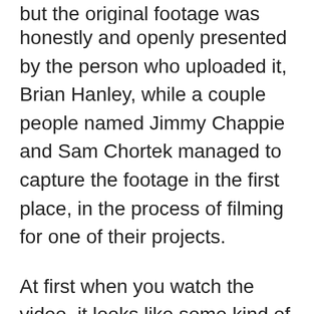but the original footage was very honestly and openly presented by the person who uploaded it, Brian Hanley, while a couple people named Jimmy Chappie and Sam Chortek managed to capture the footage in the first place, in the process of filming for one of their projects.
At first when you watch the video, it looks like some kind of strange insect is zooming by in the scene. However, once you get to the parts of the video where it is slowed down, you can very clearly s...